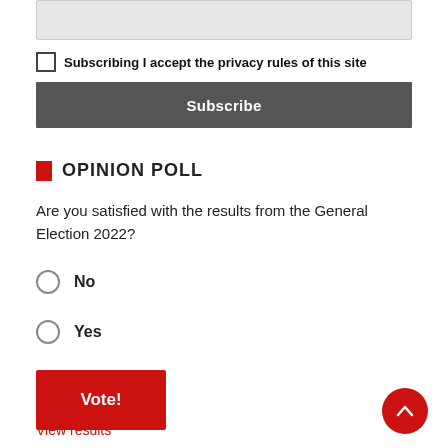[Figure (other): Gray input text field box]
Subscribing I accept the privacy rules of this site
Subscribe
OPINION POLL
Are you satisfied with the results from the General Election 2022?
No
Yes
Vote!
View results